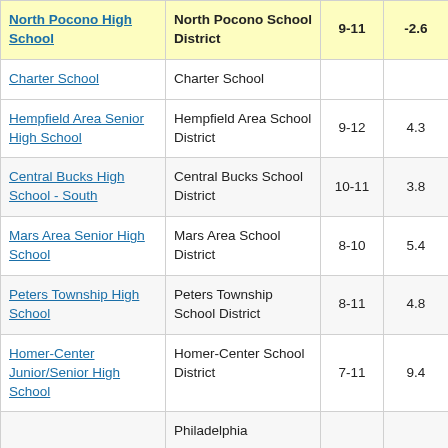| School | District | Grades | Score |  |
| --- | --- | --- | --- | --- |
| North Pocono High School | North Pocono School District | 9-11 | -2.6 | 3 |
| Charter School | Charter School |  |  |  |
| Hempfield Area Senior High School | Hempfield Area School District | 9-12 | 4.3 |  |
| Central Bucks High School - South | Central Bucks School District | 10-11 | 3.8 |  |
| Mars Area Senior High School | Mars Area School District | 8-10 | 5.4 |  |
| Peters Township High School | Peters Township School District | 8-11 | 4.8 |  |
| Homer-Center Junior/Senior High School | Homer-Center School District | 7-11 | 9.4 |  |
| Philadelphia... |  |  |  |  |